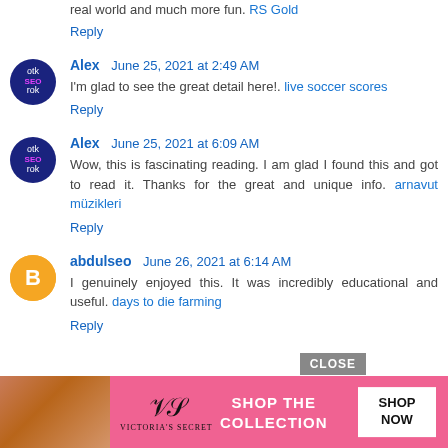When utilized handily, even a significantly worked on model can be more real world and much more fun. RS Gold
Reply
Alex  June 25, 2021 at 2:49 AM
I'm glad to see the great detail here!. live soccer scores
Reply
Alex  June 25, 2021 at 6:09 AM
Wow, this is fascinating reading. I am glad I found this and got to read it. Thanks for the great and unique info. arnavut müzikleri
Reply
abdulseo  June 26, 2021 at 6:14 AM
I genuinely enjoyed this. It was incredibly educational and useful. days to die farming
Reply
[Figure (photo): Victoria's Secret advertisement banner with woman model, logo, SHOP THE COLLECTION text, and SHOP NOW button]